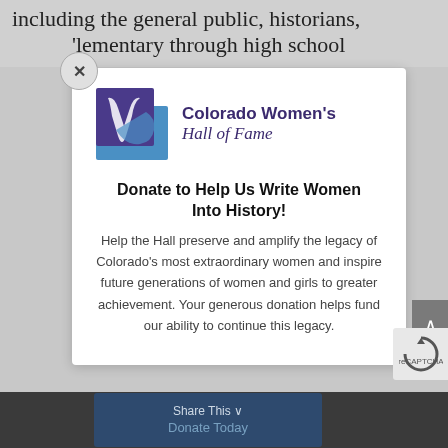including the general public, historians,
lementary through high school
[Figure (logo): Colorado Women's Hall of Fame logo with purple and blue geometric design and text]
Donate to Help Us Write Women Into History!
Help the Hall preserve and amplify the legacy of Colorado's most extraordinary women and inspire future generations of women and girls to greater achievement. Your generous donation helps fund our ability to continue this legacy.
Share This  Donate Today